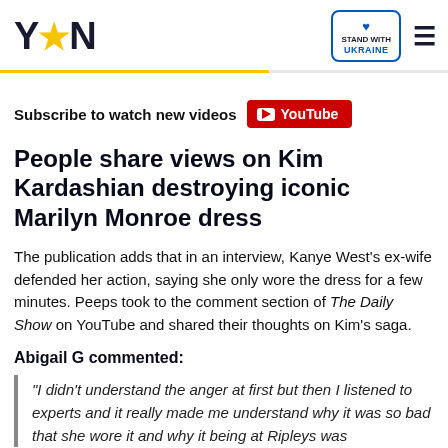YEN | STAND WITH UKRAINE
Subscribe to watch new videos YouTube
People share views on Kim Kardashian destroying iconic Marilyn Monroe dress
The publication adds that in an interview, Kanye West's ex-wife defended her action, saying she only wore the dress for a few minutes. Peeps took to the comment section of The Daily Show on YouTube and shared their thoughts on Kim's saga.
Abigail G commented:
"I didn't understand the anger at first but then I listened to experts and it really made me understand why it was so bad that she wore it and why it being at Ripleys was